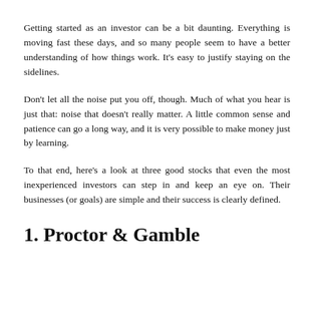Getting started as an investor can be a bit daunting. Everything is moving fast these days, and so many people seem to have a better understanding of how things work. It's easy to justify staying on the sidelines.
Don't let all the noise put you off, though. Much of what you hear is just that: noise that doesn't really matter. A little common sense and patience can go a long way, and it is very possible to make money just by learning.
To that end, here's a look at three good stocks that even the most inexperienced investors can step in and keep an eye on. Their businesses (or goals) are simple and their success is clearly defined.
1. Proctor & Gamble